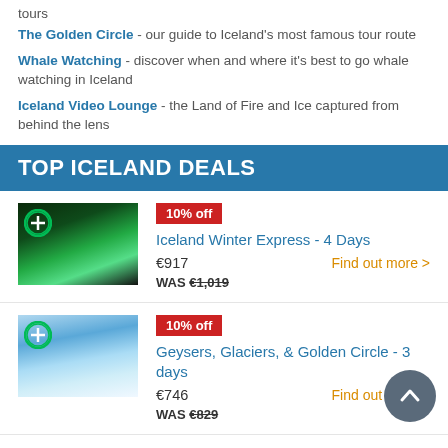tours
The Golden Circle - our guide to Iceland's most famous tour route
Whale Watching - discover when and where it's best to go whale watching in Iceland
Iceland Video Lounge - the Land of Fire and Ice captured from behind the lens
TOP ICELAND DEALS
10% off
Iceland Winter Express - 4 Days
€917   Find out more >
WAS €1,019
10% off
Geysers, Glaciers, & Golden Circle - 3 days
€746   Find out more >
WAS €829